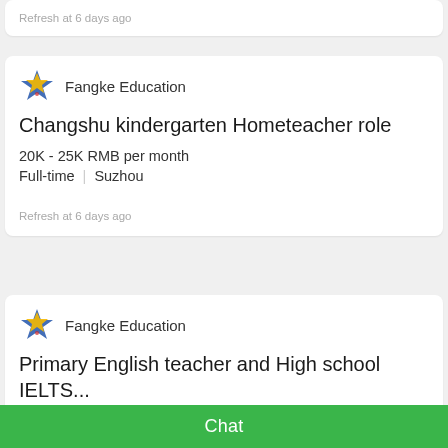Refresh at 6 days ago
Fangke Education
Changshu kindergarten Hometeacher role
20K - 25K RMB per month
Full-time | Suzhou
Refresh at 6 days ago
Fangke Education
Primary English teacher and High school IELTS...
Chat